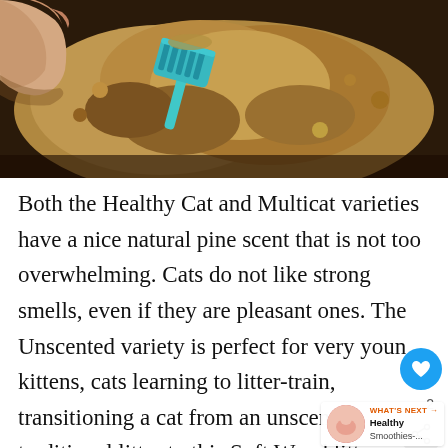[Figure (photo): Close-up photo of cat litter (sandy/granular texture in brown/tan tones) being scooped with a teal/blue plastic litter scoop. A hand is visible at the top-left corner.]
Both the Healthy Cat and Multicat varieties have a nice natural pine scent that is not too overwhelming. Cats do not like strong smells, even if they are pleasant ones. The Unscented variety is perfect for very young kittens, cats learning to litter-train, transitioning a cat from an unscented traditional litter to this Soft Wood litter, and